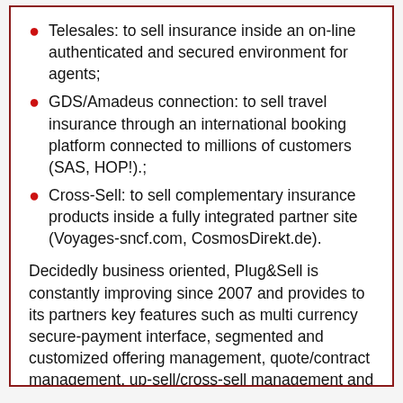Telesales: to sell insurance inside an on-line authenticated and secured environment for agents;
GDS/Amadeus connection: to sell travel insurance through an international booking platform connected to millions of customers (SAS, HOP!).;
Cross-Sell: to sell complementary insurance products inside a fully integrated partner site (Voyages-sncf.com, CosmosDirekt.de).
Decidedly business oriented, Plug&Sell is constantly improving since 2007 and provides to its partners key features such as multi currency secure-payment interface, segmented and customized offering management, quote/contract management, up-sell/cross-sell management and promotion management.